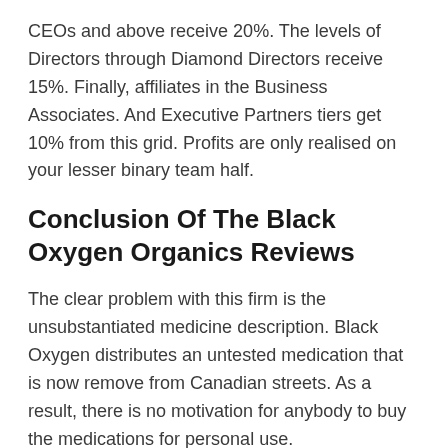CEOs and above receive 20%. The levels of Directors through Diamond Directors receive 15%. Finally, affiliates in the Business Associates. And Executive Partners tiers get 10% from this grid. Profits are only realised on your lesser binary team half.
Conclusion Of The Black Oxygen Organics Reviews
The clear problem with this firm is the unsubstantiated medicine description. Black Oxygen distributes an untested medication that is now remove from Canadian streets. As a result, there is no motivation for anybody to buy the medications for personal use.